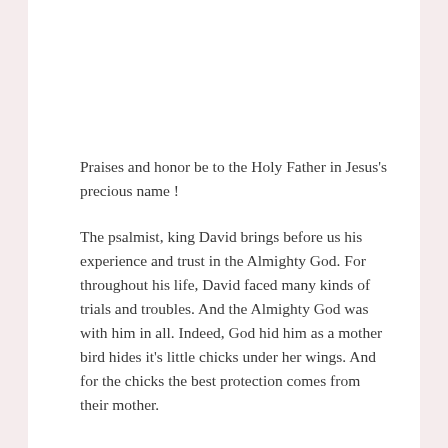Praises and honor be to the Holy Father in Jesus's precious name !
The psalmist, king David brings before us his experience and trust in the Almighty God. For throughout his life, David faced many kinds of trials and troubles. And the Almighty God was with him in all. Indeed, God hid him as a mother bird hides it's little chicks under her wings. And for the chicks the best protection comes from their mother.